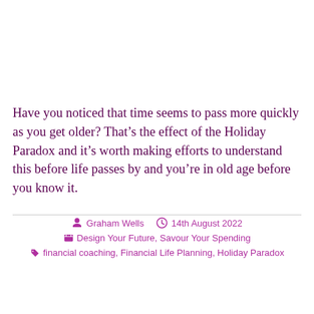Have you noticed that time seems to pass more quickly as you get older? That's the effect of the Holiday Paradox and it's worth making efforts to understand this before life passes by and you're in old age before you know it.
Graham Wells  14th August 2022  Design Your Future, Savour Your Spending  financial coaching, Financial Life Planning, Holiday Paradox